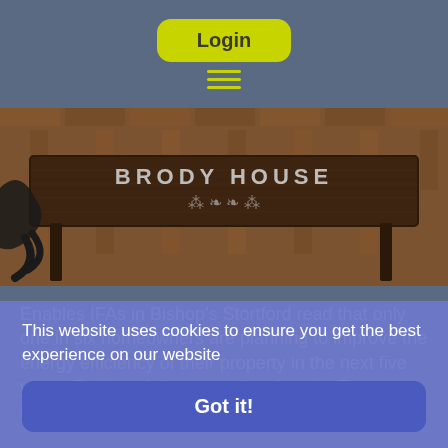Login
[Figure (photo): A wooden table with decorative metalwork bearing the text 'BRODY HOUSE' engraved or painted on it, set on a parquet floor background.]
Enables IFAs in Bishop's Stortford read that only one in six homeowners are planning to improve the energy efficiency of their property in the next five years. Perhaps it is no surprise that the Energy Efficiency Infrastructure Group
This website uses cookies to ensure you get the best experience on our website
Got it!